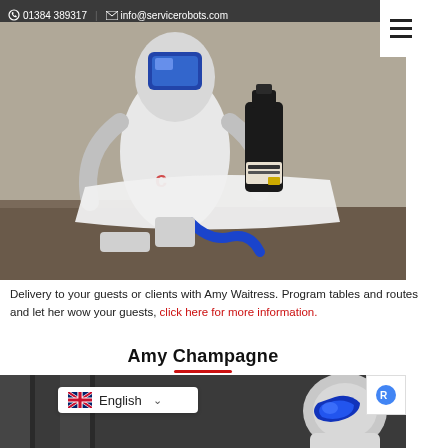01384 389317 | info@servicerobots.com
[Figure (photo): Close-up photo of a service robot (Amy Waitress) holding a white tray with a dark bottle on it, in a room setting.]
Delivery to your guests or clients with Amy Waitress. Program tables and routes and let her wow your guests, click here for more information.
Amy Champagne
[Figure (photo): Partial photo of Amy Champagne robot in front of a curtain background, with a language selector dropdown showing English with UK flag.]